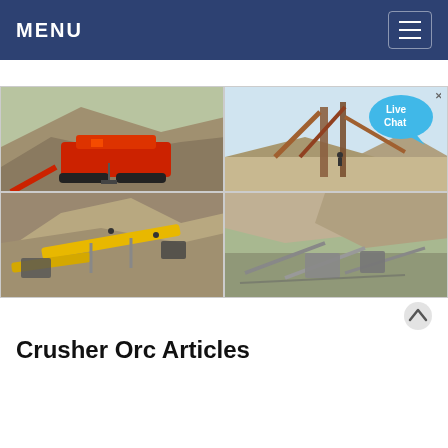MENU
[Figure (photo): Four-panel grid of industrial mining/crushing equipment and stone aggregate processing sites. Top-left: red mobile crusher on tracks at a quarry. Top-right: large conveyor/screening structure at a gravel processing site. Bottom-left: aerial view of yellow conveyor belt equipment and aggregate piles. Bottom-right: aerial view of stone crushing plant with conveyors and material stockpiles.]
Crusher Orc Articles